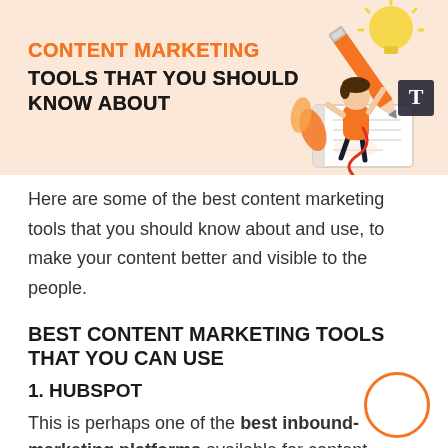[Figure (illustration): Header banner with peach/salmon background showing an illustration of a person writing with a large pencil, a lightbulb, a notebook, and a letter T icon. Orange and yellow decorative elements.]
CONTENT MARKETING TOOLS THAT YOU SHOULD KNOW ABOUT
Here are some of the best content marketing tools that you should know about and use, to make your content better and visible to the people.
BEST CONTENT MARKETING TOOLS THAT YOU CAN USE
1. HUBSPOT
This is perhaps one of the best inbound-marketing platforms available for content...